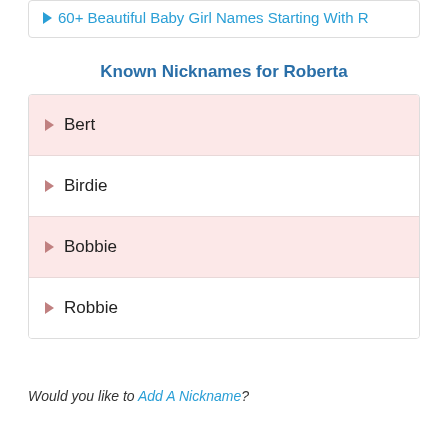60+ Beautiful Baby Girl Names Starting With R
Known Nicknames for Roberta
Bert
Birdie
Bobbie
Robbie
Would you like to Add A Nickname?